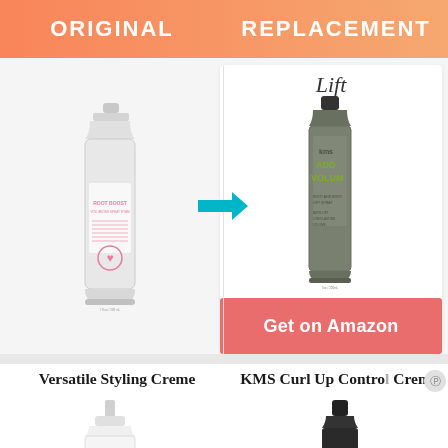ORIGINAL   REPLACEMENT
Lift
[Figure (photo): Silver aerosol spray bottle labeled 'Root Boost' with pink text and heart logo]
[Figure (illustration): Teal/cyan arrow pointing right]
[Figure (photo): Olive/grey aerosol spray bottle labeled 'KMS Add Volume' with green text]
Get on Amazon
Versatile Styling Creme
KMS Curl Up Control Creme
[Figure (photo): White cream/lotion bottle, partially visible]
[Figure (photo): Black aerosol spray bottle, top portion visible]